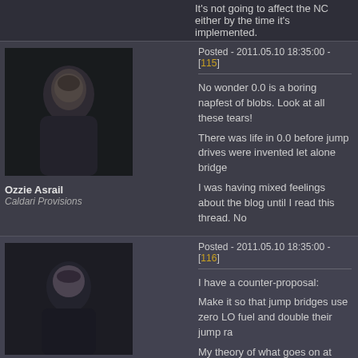It's not going to affect the NC either by the time it's implemented.
Posted - 2011.05.10 18:35:00 - [115]
[Figure (photo): Avatar portrait of Ozzie Asrail, a dark-haired male character]
Ozzie Asrail
Caldari Provisions
No wonder 0.0 is a boring napfest of blobs. Look at all these tears!
There was life in 0.0 before jump drives were invented let alone bridge
I was having mixed feelings about the blog until I read this thread. No
Posted - 2011.05.10 18:35:00 - [116]
[Figure (photo): Avatar portrait of Percival Gates, a bald male character]
Percival Gates
I have a counter-proposal:
Make it so that jump bridges use zero LO fuel and double their jump ra
My theory of what goes on at CCP headquarters:
"We need to figure out how to make things as much of a giant pain in t
Posted - 2011.05.10 18:35:00 - [117]
[Figure (photo): Avatar portrait of northwesten, a bald older male character]
northwesten
Amarr
Trinity Corporate Services
Terran United Federation
man Me and PL agree on something... I been playing this game for 7 y
Can't handle the risk? then leave null!
Oh and people asking for more regions don't be a tool.. Space not ever
Posted - 2011.05.10 18:35:00 - [118]
[Figure (photo): Avatar portrait of a blonde character, partially visible at bottom]